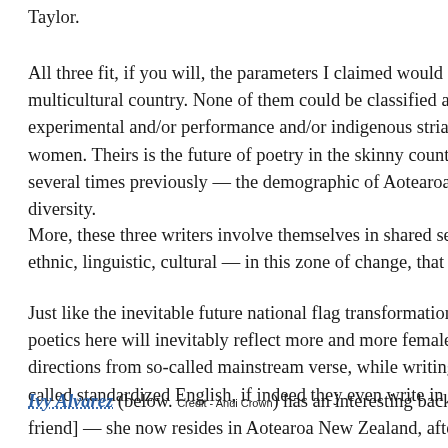Taylor.
All three fit, if you will, the parameters I claimed would establish the future d… multicultural country. None of them could be classified as pākehā middle-clas… experimental and/or performance and/or indigenous striates of poetry. Signific… women. Theirs is the future of poetry in the skinny country of Aotearoa — ine… several times previously — the demographic of Aotearoa is rapidly and rather… diversity.
More, these three writers involve themselves in shared self-reflections about t… ethnic, linguistic, cultural — in this zone of change, that is Aotearoa.
Just like the inevitable future national flag transformation here, away from un… poetics here will inevitably reflect more and more female, multiethnic poets o… directions from so-called mainstream verse, while writing and performing in f… called standardized English, if indeed they even write in that language at all.
Ivy Alvarez (below. Credit - Andi Crown) has an interesting background. Philippine… friend] — she now resides in Aotearoa New Zealand, after sojourns in the Uni…